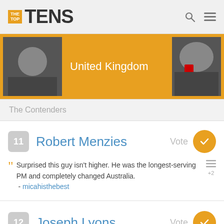[Figure (screenshot): TheTopTens website header with logo and navigation icons]
[Figure (photo): Banner showing two photos with United Kingdom text on gold background]
The Contenders
11 Robert Menzies Vote
Surprised this guy isn't higher. He was the longest-serving PM and completely changed Australia. - micahisthebest
12 Joseph Lyons Vote